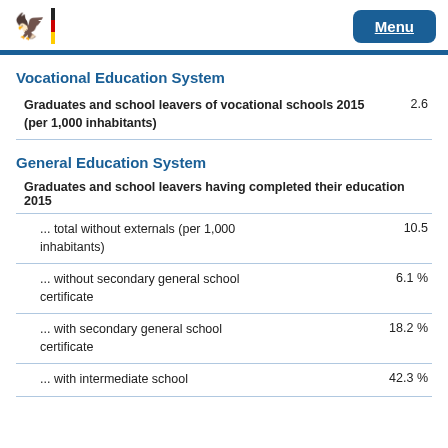Menu
Vocational Education System
| Description | Value |
| --- | --- |
| Graduates and school leavers of vocational schools 2015 (per 1,000 inhabitants) | 2.6 |
General Education System
| Description | Value |
| --- | --- |
| Graduates and school leavers having completed their education 2015 |  |
| ... total without externals (per 1,000 inhabitants) | 10.5 |
| ... without secondary general school certificate | 6.1 % |
| ... with secondary general school certificate | 18.2 % |
| ... with intermediate school | 42.3 % |